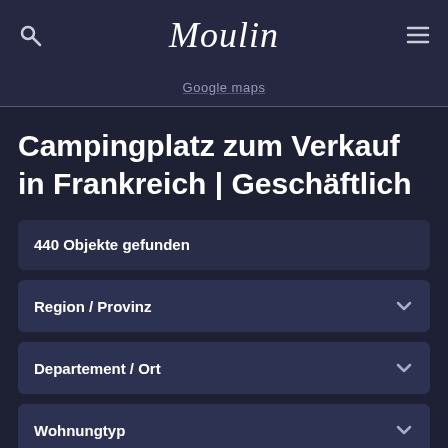Moulin
Google maps
Campingplatz zum Verkauf in Frankreich | Geschäftlich
440 Objekte gefunden
Region / Provinz
Departement / Ort
Wohnungtyp
Preis Kein Maximum